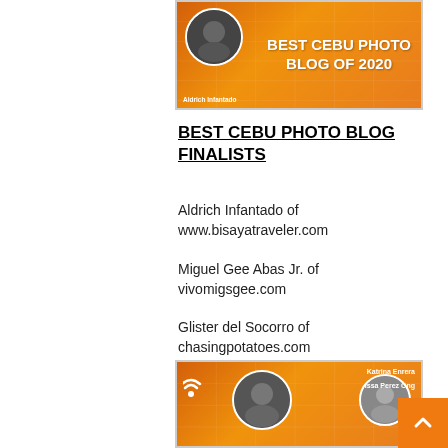[Figure (photo): Orange award banner for Best Cebu Photo Blog of 2020, featuring Aldrich Infantado with a circular avatar photo on orange background with grid lines decoration]
BEST CEBU PHOTO BLOG FINALISTS
Aldrich Infantado of www.bisayatraveler.com
Miguel Gee Abas Jr. of vivomigsgee.com
Glister del Socorro of chasingpotatoes.com
[Figure (photo): Orange award banner featuring finalists including Katrina Enrera and other bloggers with circular avatar photos on orange background with wifi/RSS icon]